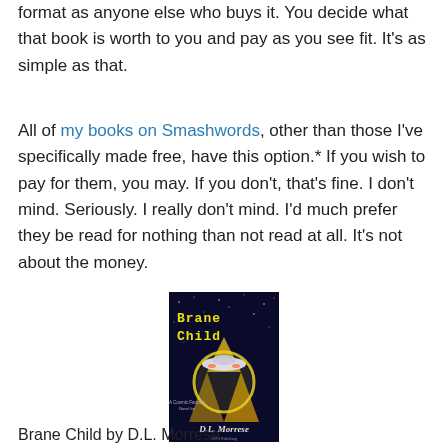format as anyone else who buys it. You decide what that book is worth to you and pay as you see fit. It's as simple as that.
All of my books on Smashwords, other than those I've specifically made free, have this option.* If you wish to pay for them, you may. If you don't, that's fine. I don't mind. Seriously. I really don't mind. I'd much prefer they be read for nothing than not read at all. It's not about the money.
[Figure (illustration): Book cover for 'Brane Child' by D.L. Morrese, showing a spaceship and pyramid against a blue background with yellow stylized title text.]
Brane Child by D.L. Morrese